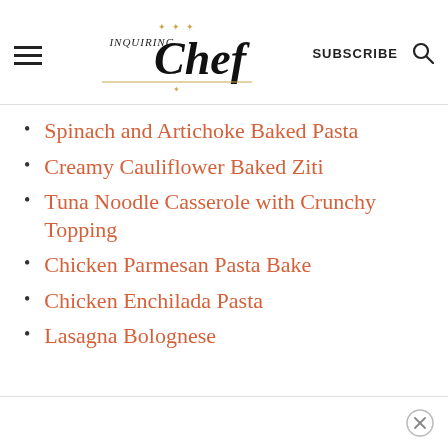Inquiring Chef — SUBSCRIBE
Spinach and Artichoke Baked Pasta
Creamy Cauliflower Baked Ziti
Tuna Noodle Casserole with Crunchy Topping
Chicken Parmesan Pasta Bake
Chicken Enchilada Pasta
Lasagna Bolognese
×